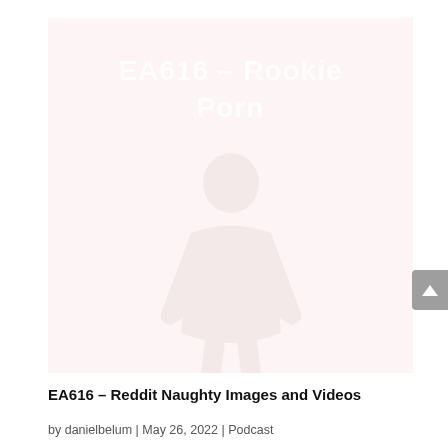[Figure (illustration): Faded thumbnail image with light pink/cream background showing a faint silhouette figure and overlaid white bold text reading 'EA616 – Rookie Porn']
EA616 – Reddit Naughty Images and Videos
by danielbelum | May 26, 2022 | Podcast